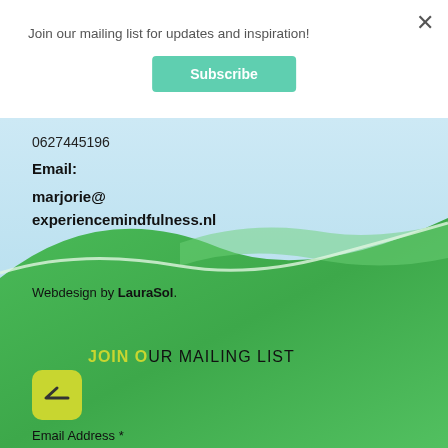Join our mailing list for updates and inspiration!
Subscribe
0627445196
Email:
marjorie@ experiencemindfulness.nl
[Figure (photo): Scenic landscape with light blue sky and green meadow/field background]
Webdesign by LauraSol.
JOIN OUR MAILING LIST
Email Address *